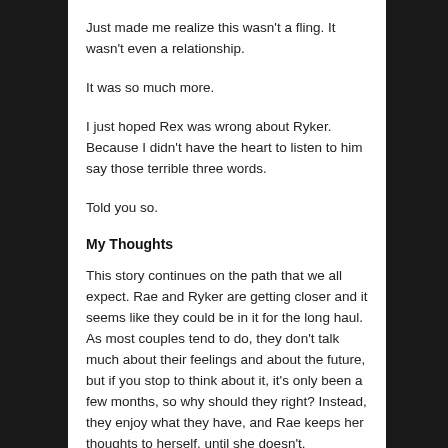Just made me realize this wasn't a fling. It wasn't even a relationship.
It was so much more.
I just hoped Rex was wrong about Ryker. Because I didn't have the heart to listen to him say those terrible three words.
Told you so.
My Thoughts
This story continues on the path that we all expect. Rae and Ryker are getting closer and it seems like they could be in it for the long haul. As most couples tend to do, they don't talk much about their feelings and about the future, but if you stop to think about it, it's only been a few months, so why should they right? Instead, they enjoy what they have, and Rae keeps her thoughts to herself. until she doesn't.